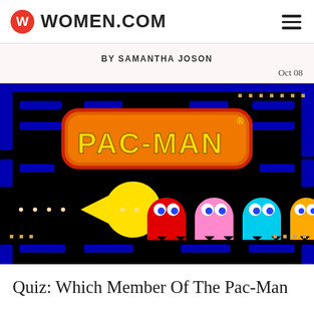WOMEN.COM
BY SAMANTHA JOSON
Oct 08
[Figure (screenshot): Pac-Man arcade game promotional image showing the Pac-Man logo on an orange background with a red border, with the yellow Pac-Man character and four ghosts (red, pink, cyan, orange) on a black maze background.]
Quiz: Which Member Of The Pac-Man